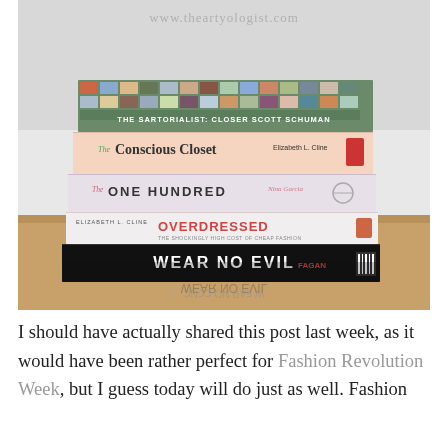[Figure (photo): A stack of fashion books on a wooden surface. From top to bottom: 'The Sartorialist: Closer' by Scott Schuman, 'The Conscious Closet' by Elizabeth L. Cline, 'The One Hundred' by Nina Garcia, 'Overdressed: The Shockingly High Cost of Cheap Fashion' by Elizabeth L. Cline, and 'Wear No Evil' by Fagan. A watermark reads www.theartyologist.com at the top.]
I should have actually shared this post last week, as it would have been rather perfect for Fashion Revolution Week, but I guess today will do just as well. Fashion